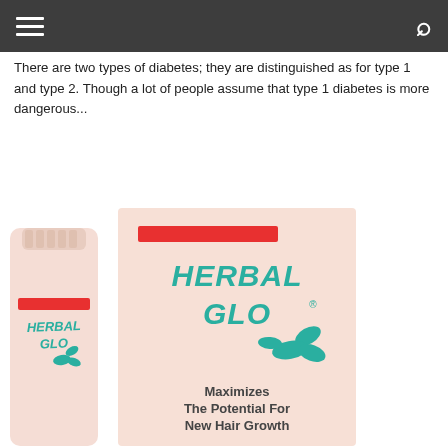There are two types of diabetes; they are distinguished as for type 1 and type 2. Though a lot of people assume that type 1 diabetes is more dangerous...
[Figure (photo): Herbal Glo hair product - a bottle and a box with teal/green logo text reading HERBAL GLO with leaf motifs and a red bar. Box text reads: Maximizes The Potential For New Hair Growth]